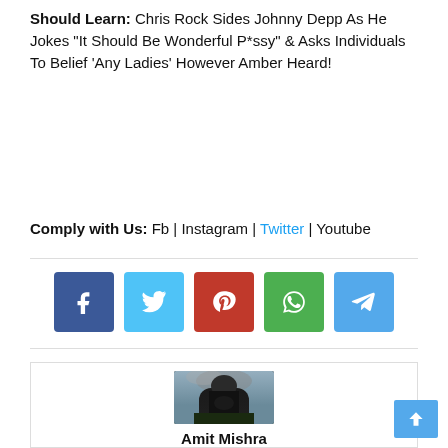Should Learn: Chris Rock Sides Johnny Depp As He Jokes “It Should Be Wonderful P*ssy” & Asks Individuals To Belief ‘Any Ladies’ However Amber Heard!
Comply with Us: Fb | Instagram | Twitter | Youtube
[Figure (infographic): Five social media share buttons: Facebook (blue), Twitter (light blue), Pinterest (red), WhatsApp (green), Telegram (light blue)]
[Figure (photo): Person in a dark hoodie with face hidden by hand, outdoors with cloudy sky background]
Amit Mishra